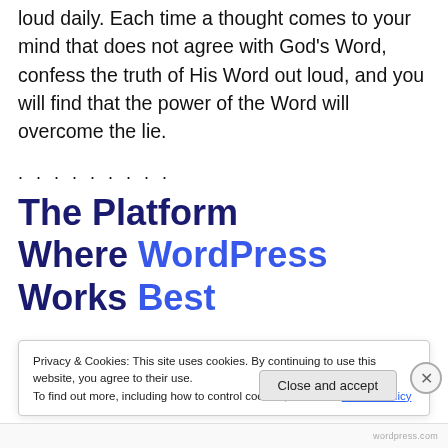...strongly encourage you to confess the Word of God out loud daily. Each time a thought comes to your mind that does not agree with God's Word, confess the truth of His Word out loud, and you will find that the power of the Word will overcome the lie.
. . . . . . . . .
The Platform Where WordPress Works Best
Privacy & Cookies: This site uses cookies. By continuing to use this website, you agree to their use.
To find out more, including how to control cookies, see here: Cookie Policy
Close and accept